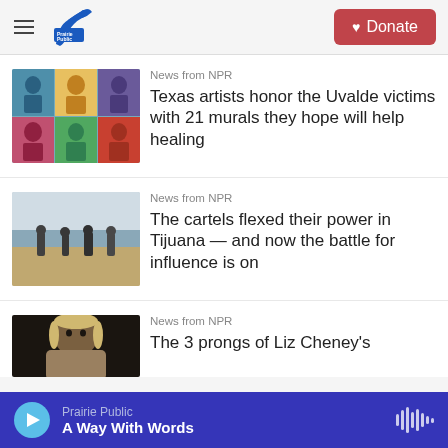Prairie Public — Hamburger menu + Donate button
News from NPR
Texas artists honor the Uvalde victims with 21 murals they hope will help healing
News from NPR
The cartels flexed their power in Tijuana — and now the battle for influence is on
News from NPR
The 3 prongs of Liz Cheney's
Prairie Public — A Way With Words